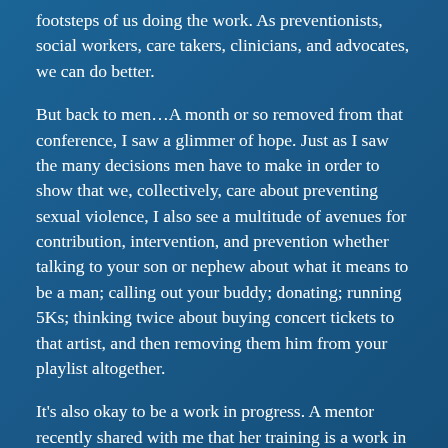footsteps of us doing the work. As preventionists, social workers, care takers, clinicians, and advocates, we can do better.
But back to men…A month or so removed from that conference, I saw a glimmer of hope. Just as I saw the many decisions men have to make in order to show that we, collectively, care about preventing sexual violence, I also see a multitude of avenues for contribution, intervention, and prevention whether talking to your son or nephew about what it means to be a man; calling out your buddy; donating; running 5Ks; thinking twice about buying concert tickets to that artist, and then removing them him from your playlist altogether.
It's also okay to be a work in progress. A mentor recently shared with me that her training is a work in progress, and I was almost floored! With gobs of experience in this field, I just assumed everything she touched would turn to gold. That there was no part of